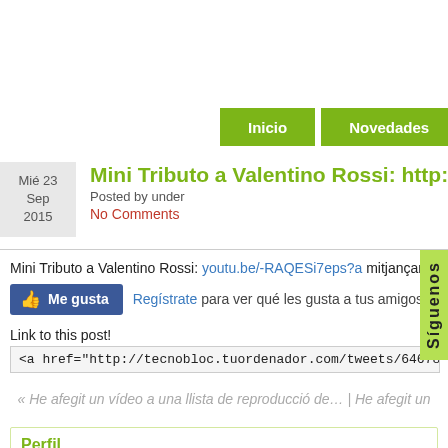Inicio | Novedades
Mini Tributo a Valentino Rossi: http://t.co/eC...
Posted by under
No Comments
Mini Tributo a Valentino Rossi: youtu.be/-RAQESi7eps?a mitjançant @YouTube
Me gusta  Registrate para ver qué les gusta a tus amigos.
Link to this post!
<a href="http://tecnobloc.tuordenador.com/tweets/6467874790061137":
« He afegit un vídeo a una llista de reproducció de… | He afegit un
Perfil